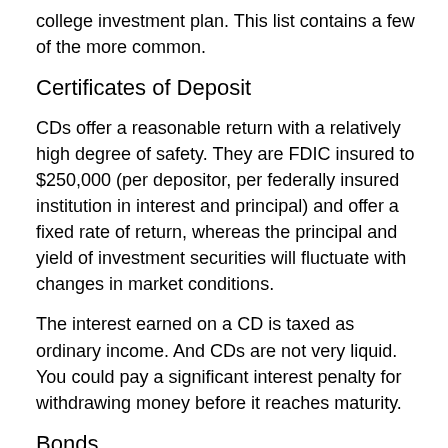college investment plan. This list contains a few of the more common.
Certificates of Deposit
CDs offer a reasonable return with a relatively high degree of safety. They are FDIC insured to $250,000 (per depositor, per federally insured institution in interest and principal) and offer a fixed rate of return, whereas the principal and yield of investment securities will fluctuate with changes in market conditions.
The interest earned on a CD is taxed as ordinary income. And CDs are not very liquid. You could pay a significant interest penalty for withdrawing money before it reaches maturity.
Bonds
Many people consider U.S. government bonds to be among the least risky investments available. They are guaranteed by the U.S. government as to the timely